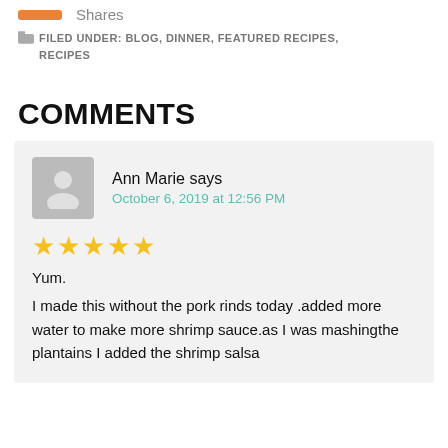Shares
FILED UNDER: BLOG, DINNER, FEATURED RECIPES, RECIPES
COMMENTS
Ann Marie says
October 6, 2019 at 12:56 PM
★★★★★
Yum.
I made this without the pork rinds today .added more water to make more shrimp sauce.as I was mashingthe plantains I added the shrimp salsa